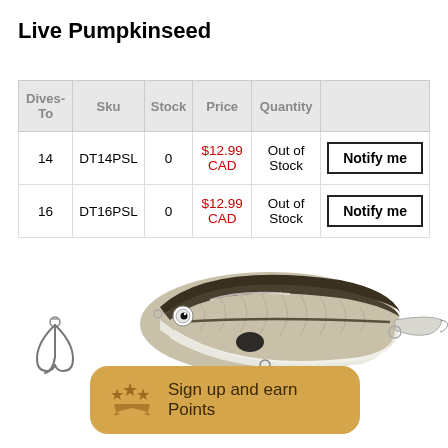Live Pumpkinseed
| Dives-To | Sku | Stock | Price | Quantity |  |
| --- | --- | --- | --- | --- | --- |
| 14 | DT14PSL | 0 | $12.99 CAD | Out of Stock | Notify me |
| 16 | DT16PSL | 0 | $12.99 CAD | Out of Stock | Notify me |
[Figure (photo): A fishing lure shaped like a pumpkinseed fish, brown/white coloring with hooks, on white background]
Sign up and earn Points